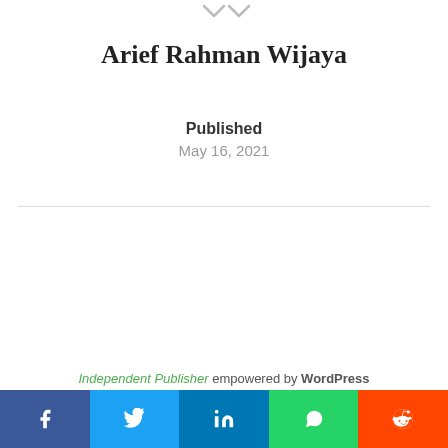[Figure (other): Two downward-pointing chevron/arrow icons at top center of page]
Arief Rahman Wijaya
Published
May 16, 2021
Independent Publisher empowered by WordPress
[Figure (infographic): Social share bar with five buttons: Facebook (dark blue, f icon), Twitter (light blue, bird icon), LinkedIn (medium blue, in icon), WhatsApp (green, phone icon), Reddit (orange-red, alien icon)]